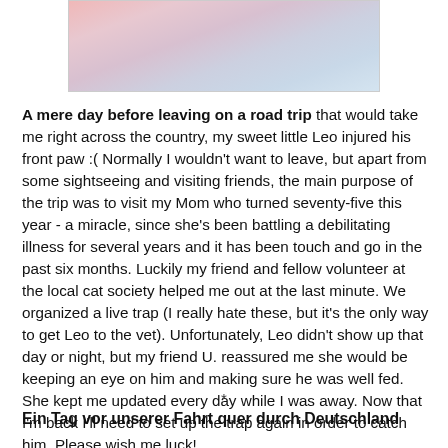[Figure (photo): Partial image of a cat or animal, showing soft pinkish and muted tones, cropped at the top of the page]
A mere day before leaving on a road trip that would take me right across the country, my sweet little Leo injured his front paw :( Normally I wouldn't want to leave, but apart from some sightseeing and visiting friends, the main purpose of the trip was to visit my Mom who turned seventy-five this year - a miracle, since she's been battling a debilitating illness for several years and it has been touch and go in the past six months. Luckily my friend and fellow volunteer at the local cat society helped me out at the last minute. We organized a live trap (I really hate these, but it's the only way to get Leo to the vet). Unfortunately, Leo didn't show up that day or night, but my friend U. reassured me she would be keeping an eye on him and making sure he was well fed. She kept me updated every day while I was away. Now that I'm back I'll need to set up the trap again in order to catch him. Please wish me luck!
*
Ein Tag vor unserer Fahrt quer durch Deutschland